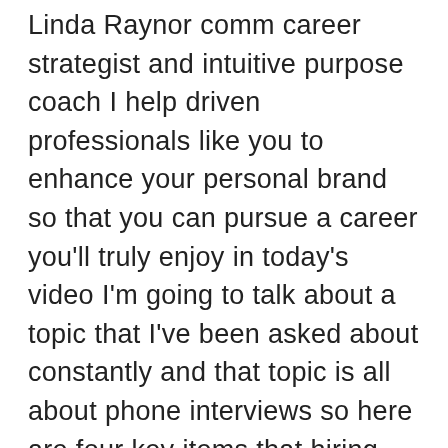Linda Raynor comm career strategist and intuitive purpose coach I help driven professionals like you to enhance your personal brand so that you can pursue a career you'll truly enjoy in today's video I'm going to talk about a topic that I've been asked about constantly and that topic is all about phone interviews so here are four key items that hiring managers recruiters and HR professionals are looking for in that initial phone screen interview that you need to keep in mind and that you can work on the first item that interviewers are looking for in a phone screen is your energy and confidence the thing about phone interviews is that they can't see your face they can't read your facial expressions they don't really have an in-person connection with you and so what you have to understand is that the way that you come across over the phone is really important and it comes down